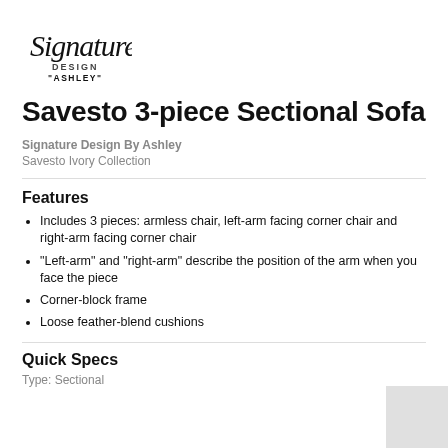[Figure (logo): Signature Design by Ashley cursive logo]
Savesto 3-piece Sectional Sofa
Signature Design By Ashley
Savesto Ivory Collection
Features
Includes 3 pieces: armless chair, left-arm facing corner chair and right-arm facing corner chair
"Left-arm" and "right-arm" describe the position of the arm when you face the piece
Corner-block frame
Loose feather-blend cushions
Quick Specs